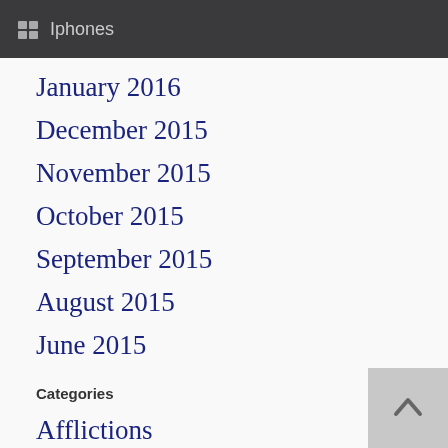Iphones
January 2016
December 2015
November 2015
October 2015
September 2015
August 2015
June 2015
Categories
Afflictions
Bob Jennings